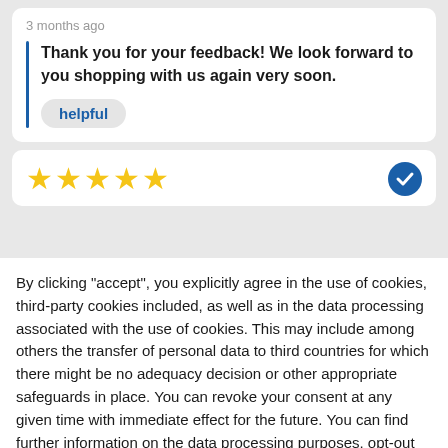3 months ago
Thank you for your feedback! We look forward to you shopping with us again very soon.
helpful
[Figure (other): Five yellow stars rating with a blue verified checkmark badge on the right]
By clicking "accept", you explicitly agree in the use of cookies, third-party cookies included, as well as in the data processing associated with the use of cookies. This may include among others the transfer of personal data to third countries for which there might be no adequacy decision or other appropriate safeguards in place. You can revoke your consent at any given time with immediate effect for the future. You can find further information on the data processing purposes, opt-out options, your rights, and the risks of data transfers to third countries here.
ACCEPT